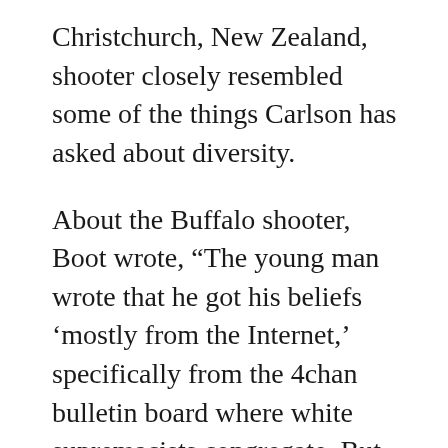Christchurch, New Zealand, shooter closely resembled some of the things Carlson has asked about diversity.
About the Buffalo shooter, Boot wrote, “The young man wrote that he got his beliefs ‘mostly from the Internet,’ specifically from the 4chan bulletin board where white supremacists congregate. But his repugnant views are not confined to an obscure corner of the Internet. They have become mainstream within the Republican Party.”